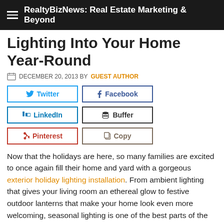RealtyBizNews: Real Estate Marketing & Beyond
Lighting Into Your Home Year-Round
DECEMBER 20, 2013 BY GUEST AUTHOR
Twitter | Facebook | LinkedIn | Buffer | Pinterest | Copy
Now that the holidays are here, so many families are excited to once again fill their home and yard with a gorgeous exterior holiday lighting installation. From ambient lighting that gives your living room an ethereal glow to festive outdoor lanterns that make your home look even more welcoming, seasonal lighting is one of the best parts of the holiday season. However, once January rolls around, so many of us are sad to see our beautiful lights disappear for yet another year. Here are some tips on how you can incorporate festive lighting into your home year-round, without going overboard or being tacky.